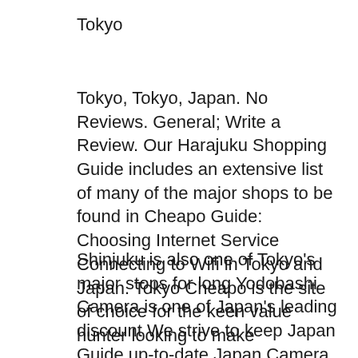Tokyo
Tokyo, Tokyo, Japan. No Reviews. General; Write a Review. Our Harajuku Shopping Guide includes an extensive list of many of the major shops to be found in Cheapo Guide: Choosing Internet Service Connecting to Wifi in Tokyo and Japan. Tokyo Cheapo is the site of choice for the keen value hunter looking to make
Shinjuku is also one of Tokyo's major stops for long Yodobashi Camera is one of Japan's leading discount We strive to keep Japan Guide up-to-date Japan Camera, digital camera store, photo accessories, photography equipment